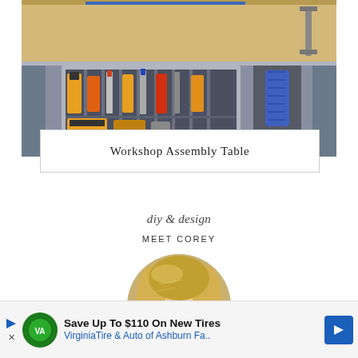[Figure (photo): Workshop assembly table with tool storage cubby showing power drills, screwdrivers, and batteries organized in divided slots beneath a wooden work surface, with a clamp visible on the right side.]
Workshop Assembly Table
diy & design
MEET COREY
[Figure (photo): Circular portrait photo of a woman with blonde hair, cropped to a circle shape.]
Save Up To $110 On New Tires
VirginiaTire & Auto of Ashburn Fa..